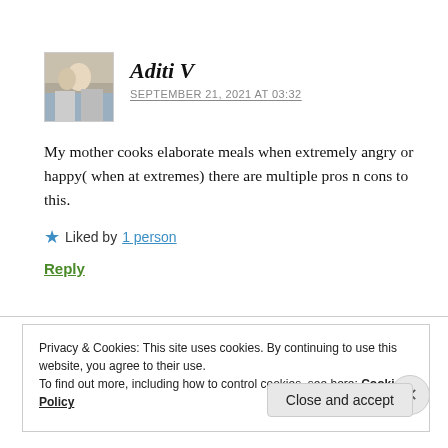[Figure (photo): Small avatar photo of a person, approximately 68x68px, appearing to show two people in an outdoor or light background setting.]
Aditi V
SEPTEMBER 21, 2021 AT 03:32
My mother cooks elaborate meals when extremely angry or happy( when at extremes) there are multiple pros n cons to this.
Liked by 1 person
Reply
Privacy & Cookies: This site uses cookies. By continuing to use this website, you agree to their use.
To find out more, including how to control cookies, see here: Cookie Policy
Close and accept